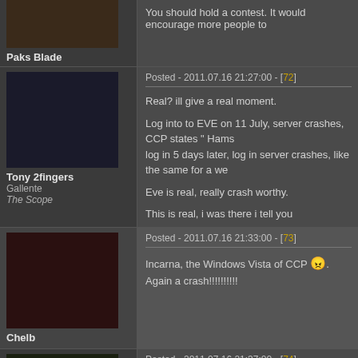Paks Blade - You should hold a contest. It would encourage more people to
Tony 2fingers - Posted - 2011.07.16 21:27:00 - [72] - Gallente - The Scope - Real? ill give a real moment. Log into to EVE on 11 July, server crashes, CCP states " Hams log in 5 days later, log in server crashes, like the same for a we Eve is real, really crash worthy. This is real, i was there i tell you
Chelb - Posted - 2011.07.16 21:33:00 - [73] - Incarna, the Windows Vista of CCP. Again a crash!!!!!!!!!!!!
Asta Ddu - Posted - 2011.07.16 21:37:00 - [74] - Minmatar - EVE is real - servers down again! EVE is real - servers down again!!! more crashes than days this Suggest that you fire the marketing team and use the money on
Posted - 2011.07.16 22:16:00 - [75] - How about **** off and fix your game you ****s?